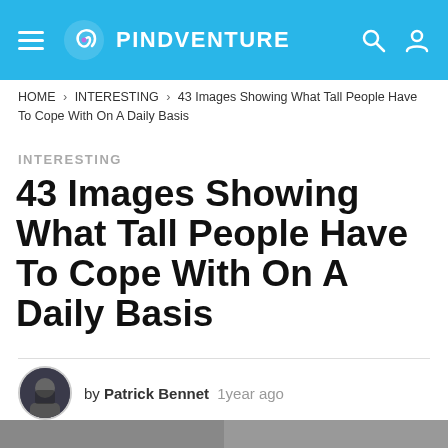PINDVENTURE
HOME > INTERESTING > 43 Images Showing What Tall People Have To Cope With On A Daily Basis
INTERESTING
43 Images Showing What Tall People Have To Cope With On A Daily Basis
by Patrick Bennet 1year ago
14.2k views
1 share
[Figure (photo): Bottom portion of article page showing partial image at bottom]